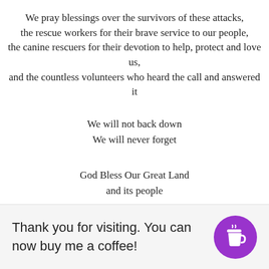We pray blessings over the survivors of these attacks, the rescue workers for their brave service to our people, the canine rescuers for their devotion to help, protect and love us, and the countless volunteers who heard the call and answered it
We will not back down
We will never forget
God Bless Our Great Land
and its people
Mary M. McCambridge (Ask Mary Mac) is the Founder and President of ... Inc., a Grief Coaching ... and programs ... Flo...
Thank you for visiting. You can now buy me a coffee!